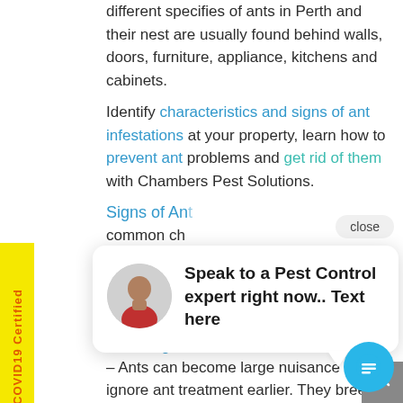different specifies of ants in Perth and their nest are usually found behind walls, doors, furniture, appliance, kitchens and cabinets.
Identify characteristics and signs of ant infestations at your property, learn how to prevent ant problems and get rid of them with Chambers Pest Solutions.
Signs of Ant...
common ch...
How to Pre...
prevent an... business property.
How to get rid of Ants
– Ants can become large nuisance if you ignore ant treatment earlier. They breed like crazy and ant colonies
[Figure (screenshot): Chat popup overlay with a person avatar, close button, and message: 'Speak to a Pest Control expert right now.. Text here'. Also shows a cyan chat icon button and a grey scroll-to-top button.]